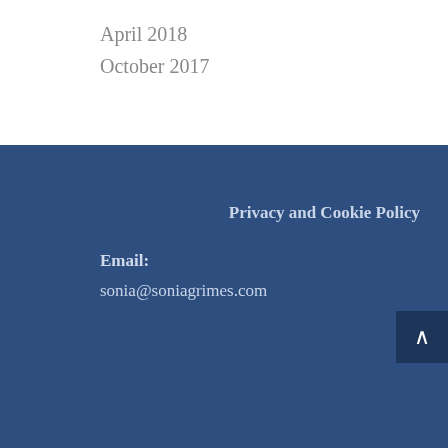April 2018
October 2017
Privacy and Cookie Policy
Email:
sonia@soniagrimes.com